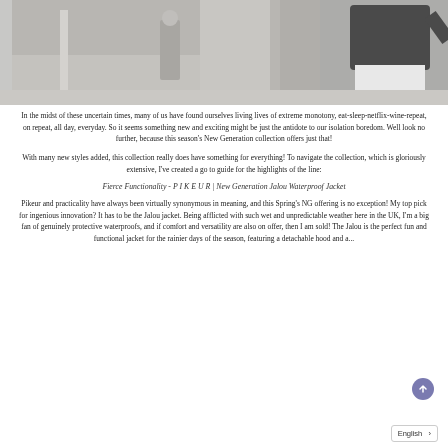[Figure (photo): Fashion/equestrian lifestyle photo showing models outdoors in front of concrete structure, one wearing a dark top and white pants]
In the midst of these uncertain times, many of us have found ourselves living lives of extreme monotony, eat-sleep-netflix-wine-repeat, on repeat, all day, everyday. So it seems something new and exciting might be just the antidote to our isolation boredom. Well look no further, because this season's New Generation collection offers just that!
With many new styles added, this collection really does have something for everything! To navigate the collection, which is gloriously extensive, I've created a go to guide for the highlights of the line:
Fierce Functionality - P I K E U R | New Generation Jalou Waterproof Jacket
Pikeur and practicality have always been virtually synonymous in meaning, and this Spring's NG offering is no exception! My top pick for ingenious innovation? It has to be the Jalou jacket. Being afflicted with such wet and unpredictable weather here in the UK, I'm a big fan of genuinely protective waterproofs, and if comfort and versatility are also on offer, then I am sold! The Jalou is the perfect fun and functional jacket for the rainier days of the season, featuring a detachable hood and a...